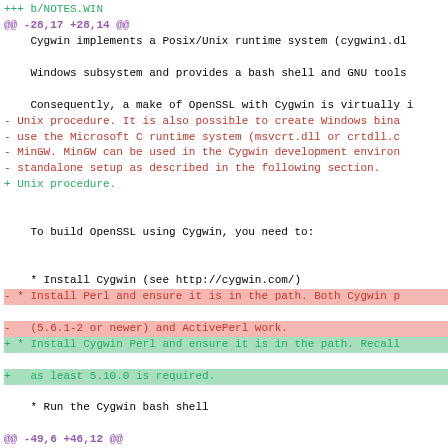+++ b/NOTES.WIN
@@ -28,17 +28,14 @@
Cygwin implements a Posix/Unix runtime system (cygwin1.dll
    Windows subsystem and provides a bash shell and GNU tools
    Consequently, a make of OpenSSL with Cygwin is virtually i
- Unix procedure. It is also possible to create Windows bina
- use the Microsoft C runtime system (msvcrt.dll or crtll.c
- MinGW. MinGW can be used in the Cygwin development environ
- standalone setup as described in the following section.
+ Unix procedure.
To build OpenSSL using Cygwin, you need to:
* Install Cygwin (see http://cygwin.com/)
- * Install Perl and ensure it is in the path. Both Cygwin p
-   (5.6.1-2 or newer) and ActivePerl work.
+ * Install Cygwin Perl and ensure it is in the path. Recall
+   as least 5.10.0 is required.
* Run the Cygwin bash shell
@@ -49,6 +46,12 @@
stripping of carriage returns. To avoid this ensure that a
    mount is used, e.g. mount -b c:\somewhere /home.
+ It is also possible to create "conventional" Windows binar
+ the Microsoft C runtime system (msvcrt.dll or crtdll.dll)
+ development add-on for Cygwin. MinGW is supported even as
+ setup as described in the following section. In the contex
+ recognize that binaries targeting Cygwin itself are not i
+ with "conventional" Windows binaries you generate with/fo